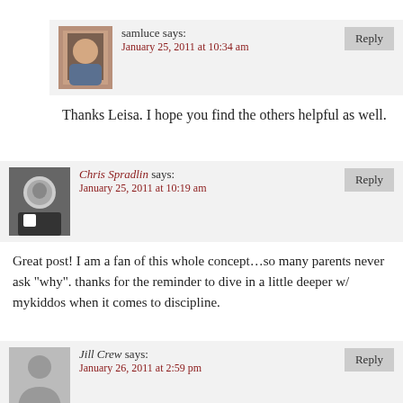samluce says: January 25, 2011 at 10:34 am — Thanks Leisa. I hope you find the others helpful as well.
Chris Spradlin says: January 25, 2011 at 10:19 am — Great post! I am a fan of this whole concept…so many parents never ask "why". thanks for the reminder to dive in a little deeper w/ mykiddos when it comes to discipline.
Jill Crew says: January 26, 2011 at 2:59 pm — Very powerful post! Would you mind if I used this